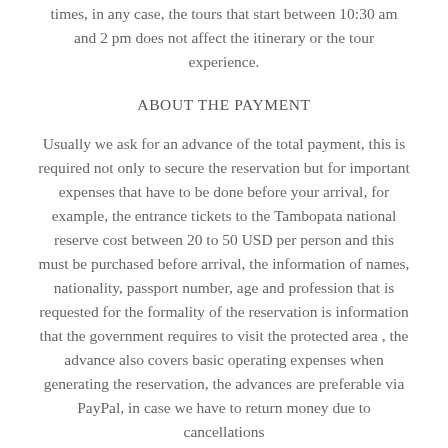times, in any case, the tours that start between 10:30 am and 2 pm does not affect the itinerary or the tour experience.
ABOUT THE PAYMENT
Usually we ask for an advance of the total payment, this is required not only to secure the reservation but for important expenses that have to be done before your arrival, for example, the entrance tickets to the Tambopata national reserve cost between 20 to 50 USD per person and this must be purchased before arrival, the information of names, nationality, passport number, age and profession that is requested for the formality of the reservation is information that the government requires to visit the protected area , the advance also covers basic operating expenses when generating the reservation, the advances are preferable via PayPal, in case we have to return money due to cancellations